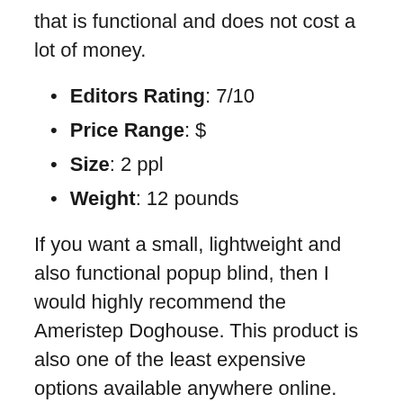that is functional and does not cost a lot of money.
Editors Rating: 7/10
Price Range: $
Size: 2 ppl
Weight: 12 pounds
If you want a small, lightweight and also functional popup blind, then I would highly recommend the Ameristep Doghouse. This product is also one of the least expensive options available anywhere online. This blind also comes in 2 color schemes which include Realtree Edge and Realtree Xtra. It has a hight of 70 inches and the surface area of the floor is